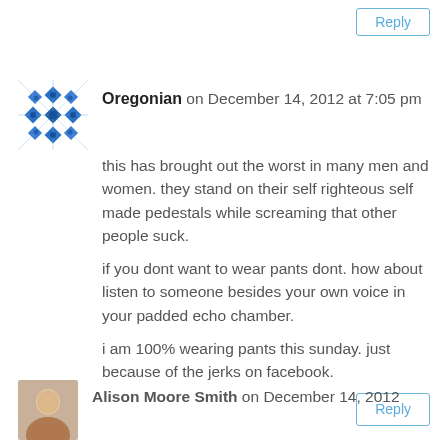Reply
[Figure (illustration): Blue decorative snowflake/quilt-style avatar icon for user Oregonian]
Oregonian on December 14, 2012 at 7:05 pm
this has brought out the worst in many men and women. they stand on their self righteous self made pedestals while screaming that other people suck.

if you dont want to wear pants dont. how about listen to someone besides your own voice in your padded echo chamber.

i am 100% wearing pants this sunday. just because of the jerks on facebook.
Reply
[Figure (photo): Small circular/square profile photo of Alison Moore Smith]
Alison Moore Smith on December 14, 2012